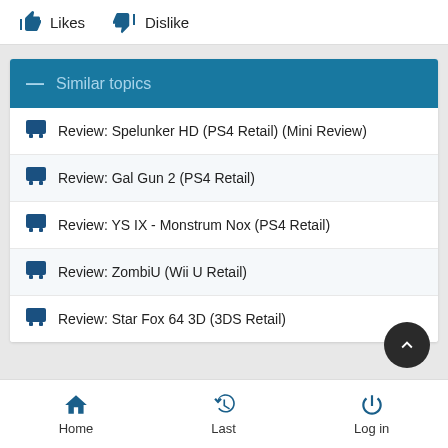Likes  Dislike
Similar topics
Review: Spelunker HD (PS4 Retail) (Mini Review)
Review: Gal Gun 2 (PS4 Retail)
Review: YS IX - Monstrum Nox (PS4 Retail)
Review: ZombiU (Wii U Retail)
Review: Star Fox 64 3D (3DS Retail)
Home  Last  Log in